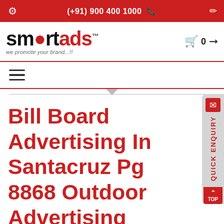(+91) 900 400 1000
[Figure (logo): SmartAds logo with text 'we promote your brand...!!']
Bill Board Advertising In Santacruz Pg 8868 Outdoor Advertising
Bill Board Advertising most one of the most effective, successful, advertising